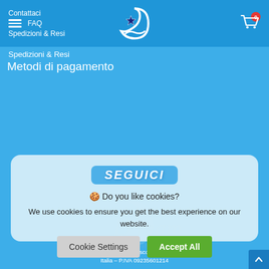Contattaci | FAQ | Spedizioni & Resi
[Figure (logo): Dream star moon logo in white on blue header]
Metodi di pagamento
SEGUICI
🍪 Do you like cookies?
We use cookies to ensure you get the best experience on our website.
[Figure (logo): Dream brand logo watermark]
Cookie Settings | Accept All
STARDREAM srl – Viale Don Bosco 9 80040 – Volla – Napoli  Italia – P.IVA 09235601214